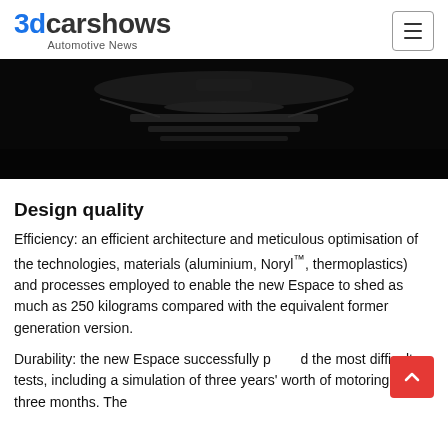3dcarshows Automotive News
[Figure (photo): Dark teaser image of a car front grille/hood shot from above, nearly black background]
Design quality
Efficiency: an efficient architecture and meticulous optimisation of the technologies, materials (aluminium, Noryl™, thermoplastics) and processes employed to enable the new Espace to shed as much as 250 kilograms compared with the equivalent former generation version.
Durability: the new Espace successfully passed the most difficult tests, including a simulation of three years' worth of motoring in just three months. The